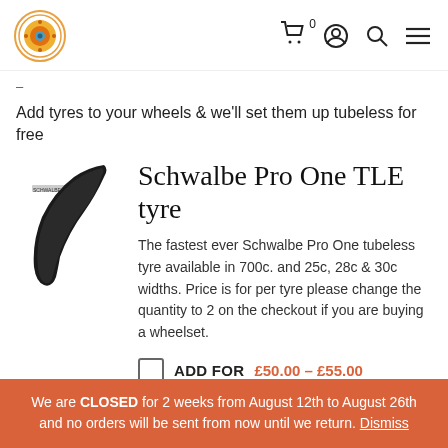Navigation header with logo, cart (0), account, search, and menu icons
–
Add tyres to your wheels & we'll set them up tubeless for free
Schwalbe Pro One TLE tyre
The fastest ever Schwalbe Pro One tubeless tyre available in 700c. and 25c, 28c & 30c widths. Price is for per tyre please change the quantity to 2 on the checkout if you are buying a wheelset.
ADD FOR  £50.00 – £55.00
We are CLOSED for 2 weeks from August 12th to August 26th and no orders will be sent from now until we return. Dismiss